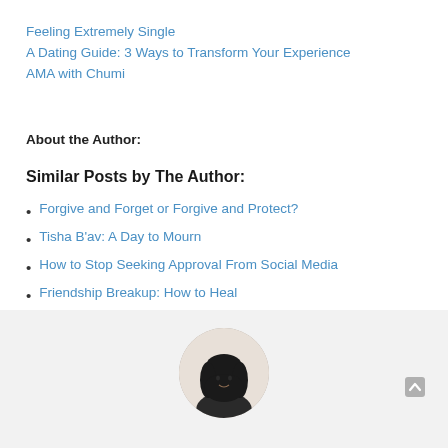Feeling Extremely Single
A Dating Guide: 3 Ways to Transform Your Experience
AMA with Chumi
About the Author:
Similar Posts by The Author:
Forgive and Forget or Forgive and Protect?
Tisha B'av: A Day to Mourn
How to Stop Seeking Approval From Social Media
Friendship Breakup: How to Heal
Overcoming Depression In Adar: Is it Possible?
[Figure (photo): Circular author photo showing a woman with dark hair wearing a dark top]